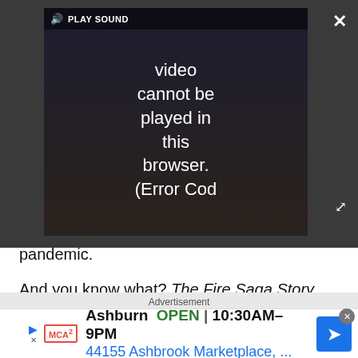[Figure (screenshot): Video player overlay showing error message: 'Video cannot be played in this browser. (Error Cod' with play sound bar and close/expand buttons on dark background]
pandemic.
And you know what? The Fire Saga Story just feels good. All the pieces fall where they're supposed to. And you see them coming. There are no real surprises here. (Save for maybe Demi Lovato's character, which is mostly extraneous and overly charred.)
Advertisement
[Figure (screenshot): Advertisement banner: Ashburn OPEN 10:30AM-9PM 44155 Ashbrook Marketplace, ... with MCA logo and navigation arrow icon]